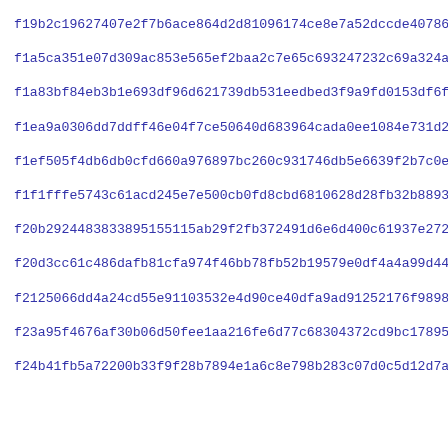f19b2c19627407e2f7b6ace864d2d81096174ce8e7a52dccde407868b5371
f1a5ca351e07d309ac853e565ef2baa2c7e65c693247232c69a324af1f60a
f1a83bf84eb3b1e693df96d621739db531eedbed3f9a9fd0153df6f398534
f1ea9a0306dd7ddff46e04f7ce50640d683964cada0ee1084e731d2067f4c
f1ef505f4db6db0cfd660a976897bc260c931746db5e6639f2b7c0ee6398a
f1f1fffe5743c61acd245e7e500cb0fd8cbd6810628d28fb32b88935dcbdd
f20b2924483833895155115ab29f2fb372491d6e6d400c61937e272ec4caa
f20d3cc61c486dafb81cfa974f46bb78fb52b19579e0df4a4a99d44b9465e
f2125066dd4a24cd55e91103532e4d90ce40dfa9ad91252176f9898d8487e
f23a95f4676af30b06d50fee1aa216fe6d77c68304372cd9bc17895383c8b
f24b41fb5a72200b33f9f28b7894e1a6c8e798b283c07d0c5d12d7a722ae1